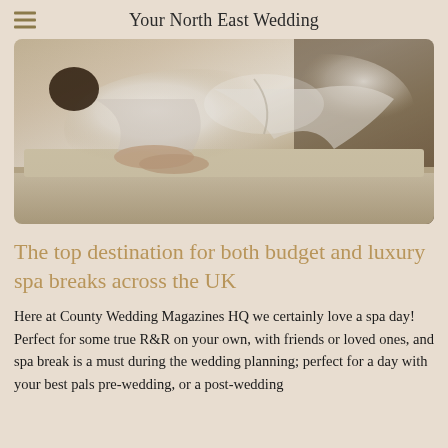Your North East Wedding
[Figure (photo): Person in a white bathrobe lying on a spa treatment table or bed, relaxed spa setting]
The top destination for both budget and luxury spa breaks across the UK
Here at County Wedding Magazines HQ we certainly love a spa day! Perfect for some true R&R on your own, with friends or loved ones, and spa break is a must during the wedding planning; perfect for a day with your best pals pre-wedding, or a post-wedding